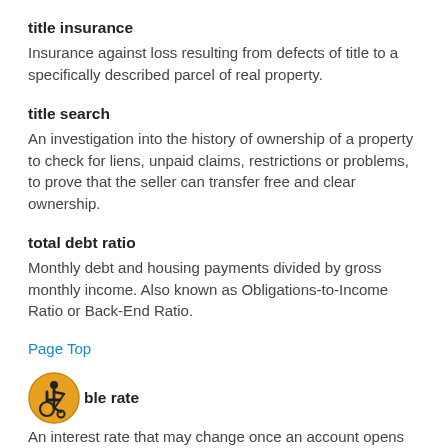title insurance
Insurance against loss resulting from defects of title to a specifically described parcel of real property.
title search
An investigation into the history of ownership of a property to check for liens, unpaid claims, restrictions or problems, to prove that the seller can transfer free and clear ownership.
total debt ratio
Monthly debt and housing payments divided by gross monthly income. Also known as Obligations-to-Income Ratio or Back-End Ratio.
Page Top
[Figure (illustration): Wheelchair accessibility icon — a circular gold/yellow badge with a stylized wheelchair user symbol in black]
ble rate
An interest rate that may change once an account opens